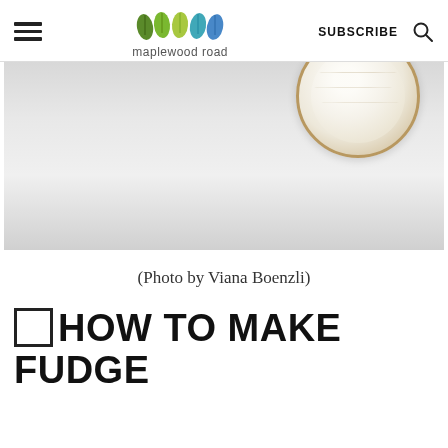maplewood road | SUBSCRIBE
[Figure (photo): Partial view of a round white fudge or candy piece with golden-brown edge on a light grey/white background]
(Photo by Viana Boenzli)
HOW TO MAKE FUDGE